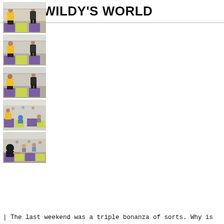≡ MR WILDY'S WORLD
[Figure (photo): Yoga/fitness studio with instructor in yellow shirt and another person on colorful mats, photo 1]
[Figure (photo): Yoga/fitness studio with instructor in yellow shirt and another person on colorful mats, photo 2]
[Figure (photo): Yoga/fitness studio with instructor in yellow shirt and another person on colorful mats, photo 3]
[Figure (photo): Yoga/fitness studio with participants sitting on colorful mats, photo 4]
[Figure (photo): Yoga/fitness studio with participants sitting on colorful mats, photo 5]
| The last weekend was a triple bonanza of sorts. Why is